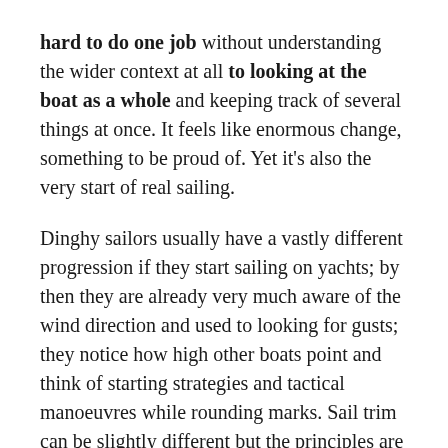hard to do one job without understanding the wider context at all to looking at the boat as a whole and keeping track of several things at once. It feels like enormous change, something to be proud of. Yet it's also the very start of real sailing.
Dinghy sailors usually have a vastly different progression if they start sailing on yachts; by then they are already very much aware of the wind direction and used to looking for gusts; they notice how high other boats point and think of starting strategies and tactical manoeuvres while rounding marks. Sail trim can be slightly different but the principles are the same. So a dinghy sailor starting sailing on a